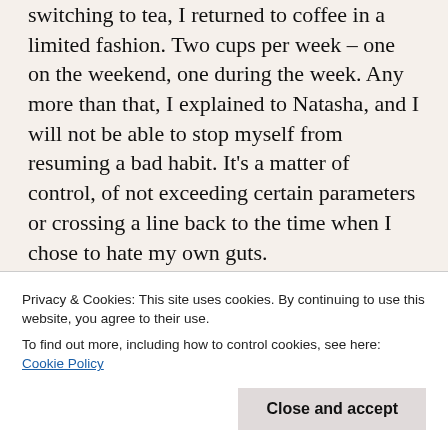switching to tea, I returned to coffee in a limited fashion. Two cups per week – one on the weekend, one during the week. Any more than that, I explained to Natasha, and I will not be able to stop myself from resuming a bad habit. It's a matter of control, of not exceeding certain parameters or crossing a line back to the time when I chose to hate my own guts.
This is how it is with anger and how we choose self-control.
We all have our moments of anger...right? It's a natural human reaction when life doesn't bode well at
Privacy & Cookies: This site uses cookies. By continuing to use this website, you agree to their use.
To find out more, including how to control cookies, see here: Cookie Policy
Close and accept